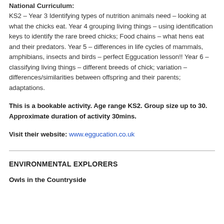National Curriculum: KS2 – Year 3 Identifying types of nutrition animals need – looking at what the chicks eat. Year 4 grouping living things – using identification keys to identify the rare breed chicks; Food chains – what hens eat and their predators. Year 5 – differences in life cycles of mammals, amphibians, insects and birds – perfect Eggucation lesson!! Year 6 – classifying living things – different breeds of chick; variation – differences/similarities between offspring and their parents; adaptations.
This is a bookable activity. Age range KS2. Group size up to 30. Approximate duration of activity 30mins.
Visit their website: www.eggucation.co.uk
ENVIRONMENTAL EXPLORERS
Owls in the Countryside